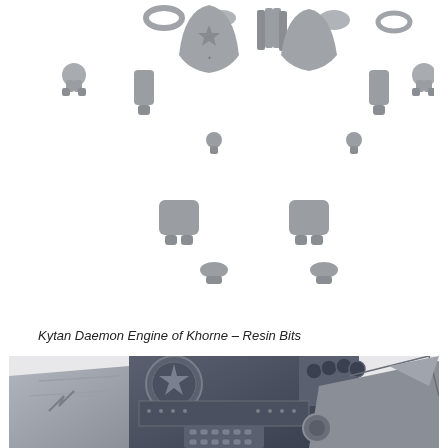[Figure (photo): Flat lay of grey resin component bits for the Kytan Daemon Engine of Khorne miniature kit — various armour plates, chains, joints, shoulder pads, and mechanical parts spread on a white background.]
Kytan Daemon Engine of Khorne – Resin Bits
[Figure (photo): Close-up photograph of the assembled Kytan Daemon Engine of Khorne resin miniature showing the torso and upper body detail — dark blue/grey armour panels with star/sun medallion, chain fist weapon, riveted mechanical sections, and claw arms.]